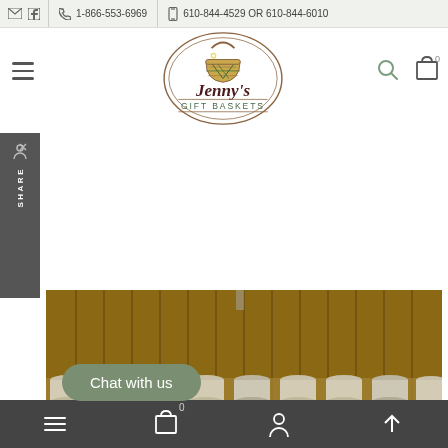✉ f  📞 1-866-553-6969  📱 610-844-4529 OR 610-844-6010
[Figure (logo): Jenny's Gift Baskets oval logo with a decorative wicker basket graphic in green and gold, and the text 'Jenny's GIFT BASKETS' in dark maroon serif font, surrounded by a double oval border]
[Figure (photo): Store shelf photo showing multiple metal/silver canisters lined up on wooden shelving with vertical wood panel backdrop]
Chat with us
Shopping Now!
☰  🛍 0  👤  ↑